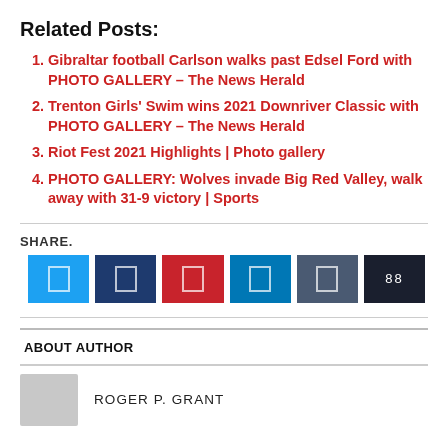Related Posts:
Gibraltar football Carlson walks past Edsel Ford with PHOTO GALLERY – The News Herald
Trenton Girls' Swim wins 2021 Downriver Classic with PHOTO GALLERY – The News Herald
Riot Fest 2021 Highlights | Photo gallery
PHOTO GALLERY: Wolves invade Big Red Valley, walk away with 31-9 victory | Sports
SHARE.
[Figure (other): Row of six social share buttons: Twitter (light blue), Facebook (dark blue), Pinterest (red), LinkedIn (blue), Buffer (slate blue), counter (dark/black)]
ABOUT AUTHOR
ROGER P. GRANT